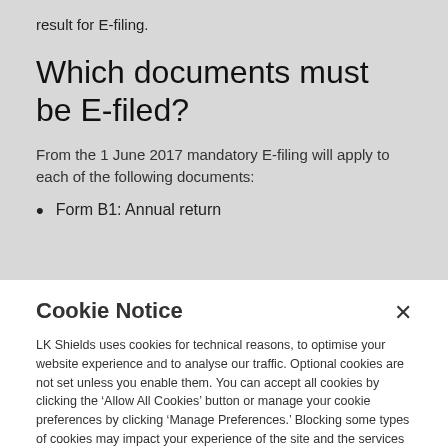result for E-filing.
Which documents must be E-filed?
From the 1 June 2017 mandatory E-filing will apply to each of the following documents:
Form B1: Annual return
Cookie Notice
LK Shields uses cookies for technical reasons, to optimise your website experience and to analyse our traffic. Optional cookies are not set unless you enable them. You can accept all cookies by clicking the ‘Allow All Cookies’ button or manage your cookie preferences by clicking ‘Manage Preferences.’ Blocking some types of cookies may impact your experience of the site and the services we are able to offer. To find out more about how we use cookies please read our Cookie Policy